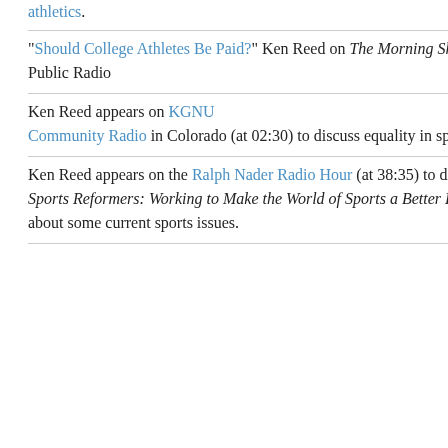athletics.
"Should College Athletes Be Paid?" Ken Reed on The Morning Show from Wisconsin Public Radio
Ken Reed appears on KGNU Community Radio in Colorado (at 02:30) to discuss equality in sports and Title IX.
Ken Reed appears on the Ralph Nader Radio Hour (at 38:35) to discuss his book The Sports Reformers: Working to Make the World of Sports a Better Place, and to talk about some current sports issues.
million more per year th... 'group of five.' From 201... Pac-12 and ACC will ear... annually.... By comparise... (American Athletic Confe... Conference USA and Sun... will be about $17.25 mill...
Individual conference televisio... are vastly different as well. Ea... getting approximately $20 mil... deals moving forward. Mounta... $2 million each, Conference U... school, while schools in the th... getting significantly less than t...
It gets worse for the Little Five... will be allowed to make their o... nothing to say about it. In addi...